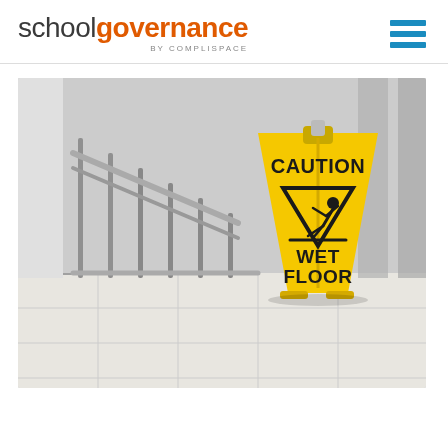schoolgovernance BY COMPLISPACE
[Figure (photo): A yellow A-frame caution wet floor sign standing in an indoor staircase area with metal railings and light-colored flooring. The sign reads CAUTION on top and WET FLOOR below a slip hazard pictogram.]